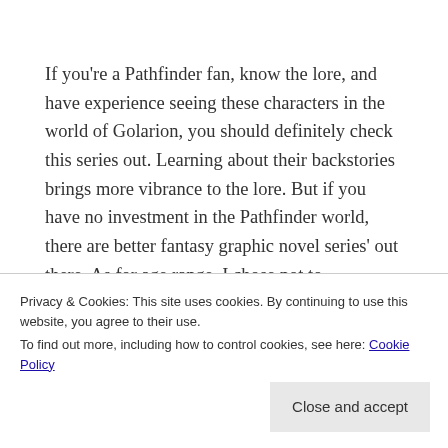If you're a Pathfinder fan, know the lore, and have experience seeing these characters in the world of Golarion, you should definitely check this series out. Learning about their backstories brings more vibrance to the lore. But if you have no investment in the Pathfinder world, there are better fantasy graphic novel series' out there. As for age range, I chose not to
Privacy & Cookies: This site uses cookies. By continuing to use this website, you agree to their use. To find out more, including how to control cookies, see here: Cookie Policy
Close and accept
the paperback releases in March to see the changes to